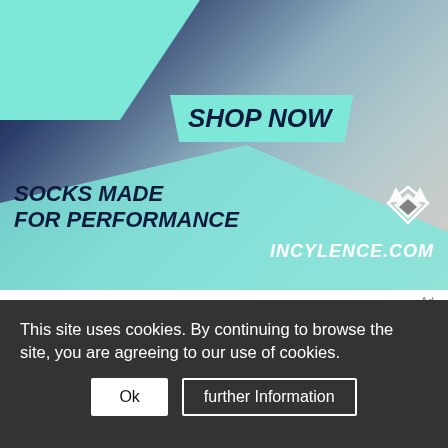[Figure (photo): Advertisement banner for Incylence.com showing performance socks with 'SHOP NOW' call to action and 'SOCKS MADE FOR PERFORMANCE' tagline on a teal and dark background with photo of person wearing athletic socks.]
Ad
The Ironman Hamburg 2022 offered 45 Kona slots to a field
This site uses cookies. By continuing to browse the site, you are agreeing to our use of cookies.